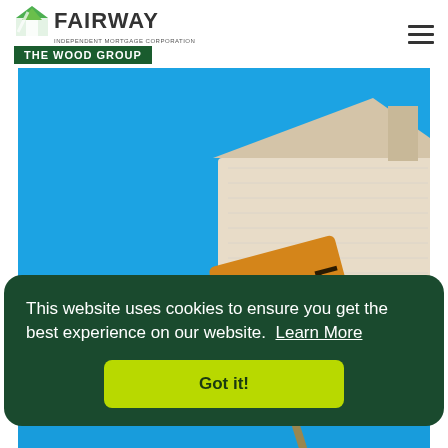[Figure (logo): Fairway Independent Mortgage Corporation - The Wood Group logo with green house icon and dark green banner]
[Figure (photo): A wooden house cutout with an orange SALE sign against a bright blue background]
This website uses cookies to ensure you get the best experience on our website. Learn More
Got it!